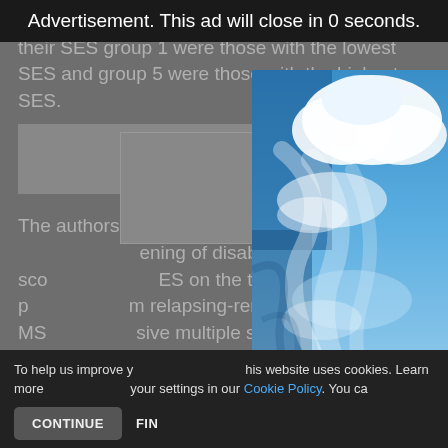Advertisement. This ad will close in 0 seconds.
patients were divided into two groups. Based on their SES group 1 were those with the lowest SES and group 5 were those with the highest SES.
[Figure (photo): Dimmed background image area within article]
The authors analyze the relationship between the worsening of disability scores measured by SES on the time it took patients to convert from relapsing-remitting MS (RRMS) to secondary progressive multiple sclerosis (SPMS). This is
[Figure (photo): Tall vertical advertisement image showing blue sky with clouds]
To help us improve your experience, this website uses cookies. Learn more and manage your settings in our Cookie Policy. You can
CONTINUE
FIND